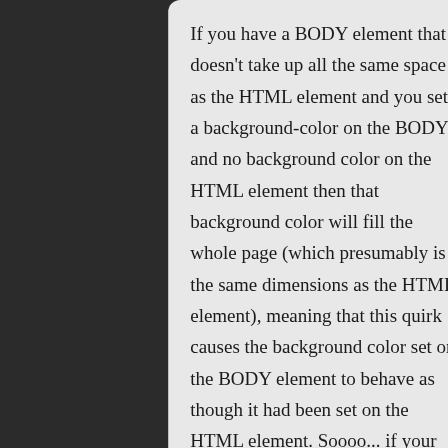If you have a BODY element that doesn't take up all the same space as the HTML element and you set a background-color on the BODY and no background color on the HTML element then that background color will fill the whole page (which presumably is the same dimensions as the HTML element), meaning that this quirk causes the background color set on the BODY element to behave as though it had been set on the HTML element. Soooo... if your BODY element doesn't take up all the same space as your HTML element but you want one background color to cover everything the HTML element covers then it makes slightly more sense to set the background color on the HTML element rather than relying